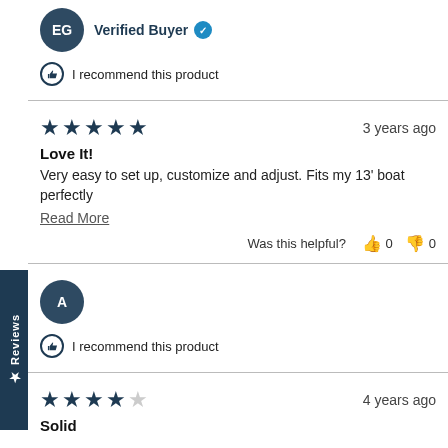EG — Verified Buyer
I recommend this product
★★★★★ 3 years ago
Love It!
Very easy to set up, customize and adjust. Fits my 13' boat perfectly
Read More
Was this helpful? 0  0
A
I recommend this product
★★★★☆ 4 years ago
Solid